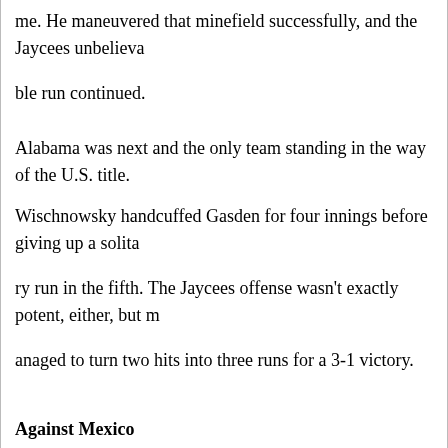me. He maneuvered that minefield successfully, and the Jaycees unbelievable run continued.
Alabama was next and the only team standing in the way of the U.S. title.
Wischnowsky handcuffed Gasden for four innings before giving up a solitary run in the fifth. The Jaycees offense wasn’t exactly potent, either, but managed to turn two hits into three runs for a 3-1 victory.
Against Mexico
The U.S. title game was quickly followed by an opportunity to win the whole ball of wax. But Monterey, Mexico, the tournament’s defending champion, had overpowered each of its foes throughout the tournament and did s